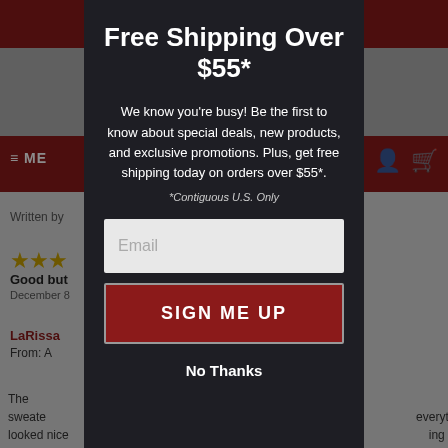[Figure (screenshot): Background website showing a product review page with a dark red navigation bar at top, star ratings, reviewer name LaRissa, and review text partially visible behind a modal overlay.]
Free Shipping Over $55*
We know you're busy! Be the first to know about special deals, new products, and exclusive promotions. Plus, get free shipping today on orders over $55*.
*Contiguous U.S. Only
Email
SIGN ME UP
No Thanks